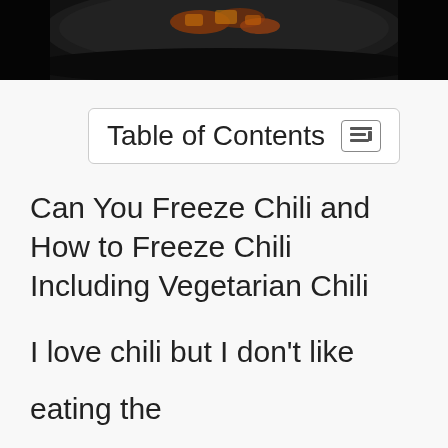[Figure (photo): Dark overhead photo of chili in a bowl/pan, partially visible at top of page]
Table of Contents
Can You Freeze Chili and How to Freeze Chili Including Vegetarian Chili
I love chili but I don’t like eating the same thing over and over again so I usually try to experiment with new flavors. Chili is also very versatile